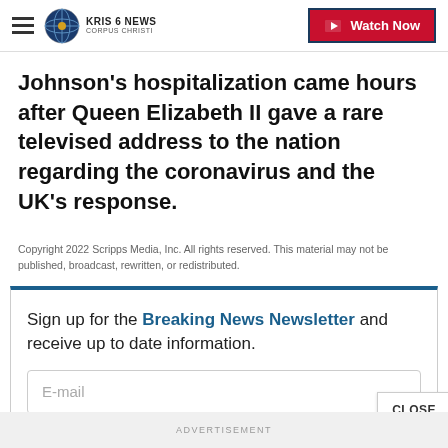KRIS 6 NEWS CORPUS CHRISTI | Watch Now
Johnson's hospitalization came hours after Queen Elizabeth II gave a rare televised address to the nation regarding the coronavirus and the UK's response.
Copyright 2022 Scripps Media, Inc. All rights reserved. This material may not be published, broadcast, rewritten, or redistributed.
Sign up for the Breaking News Newsletter and receive up to date information.
E-mail
CLOSE
ADVERTISEMENT